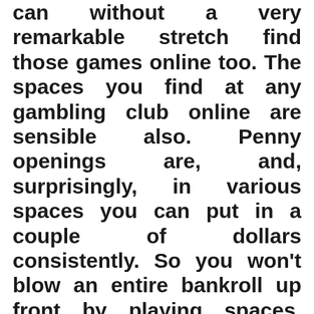can without a very remarkable stretch find those games online too. The spaces you find at any gambling club online are sensible also. Penny openings are, and, surprisingly, in various spaces you can put in a couple of dollars consistently. So you won't blow an entire bankroll up front by playing spaces. With penny spaces, you can play on different occasions for just a dollar, which is challenging to beat for entertainment purposes. Besides, with spaces you could well end the night with as much money as when you started, notwithstanding you